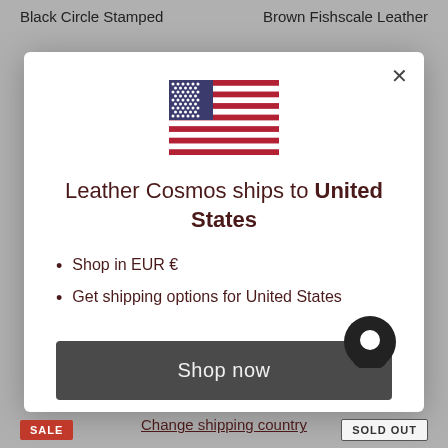Black Circle Stamped	Brown Fishscale Leather
[Figure (illustration): US flag SVG illustration inside modal dialog]
Leather Cosmos ships to United States
Shop in EUR €
Get shipping options for United States
Shop now
Change shipping country